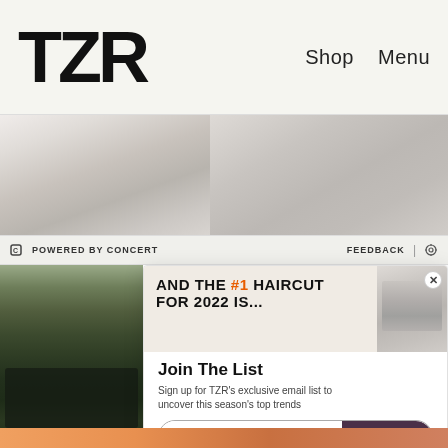TZR  Shop  Menu
[Figure (photo): Fashion website header with two female models in light-colored clothing against neutral background]
POWERED BY CONCERT  FEEDBACK | ⚙
[Figure (photo): Street scene with bare trees and a dark car]
[Figure (advertisement): AND THE #1 HAIRCUT FOR 2022 IS... with a model's face on the right]
Join The List
Sign up for TZR's exclusive email list to uncover this season's top trends
Email address  Subscribe
[Figure (photo): Bottom strip of orange/warm colored image]